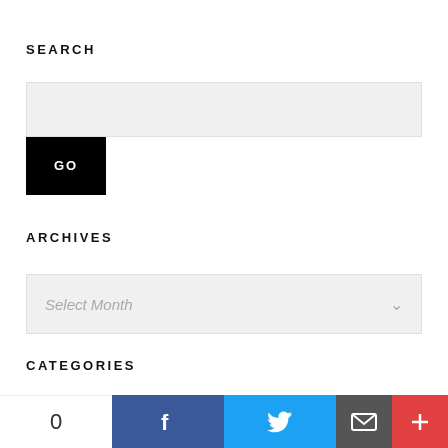SEARCH
[Figure (screenshot): Search input box (light gray rectangle) with a black GO button below it]
ARCHIVES
[Figure (screenshot): Dropdown select box showing 'Select Month' placeholder with a chevron arrow]
CATEGORIES
Atomination
[Figure (screenshot): Bottom social sharing bar with 0 count, Facebook, Twitter, email, and more icons]